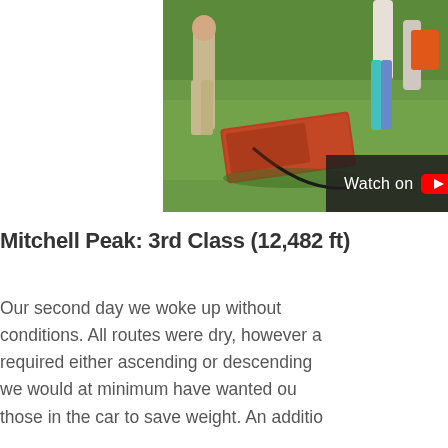[Figure (photo): Outdoor scene showing people on a grassy hillside with a red/orange mat or sled on the ground. People are visible standing, one in beige pants and one in teal/colorful leggings. Sunny day. YouTube watch overlay at bottom.]
Mitchell Peak: 3rd Class (12,482 ft)
Our second day we woke up without conditions. All routes were dry, however a required either ascending or descending we would at minimum have wanted ou those in the car to save weight. An additio